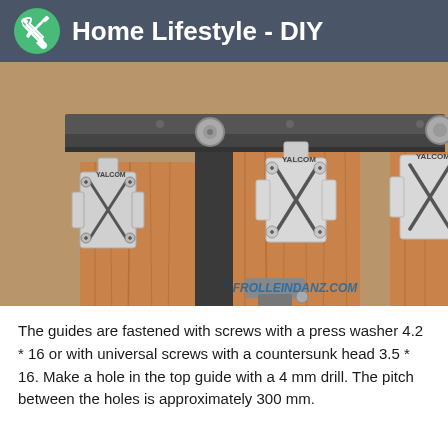Home Lifestyle - DIY
[Figure (photo): Close-up photo of sliding door hardware showing YALCOM branded metal bracket guides mounted on wooden door panels with a dark aluminum top rail track and rollers. Watermark text reads FROLLEINDANZ.COM]
The guides are fastened with screws with a press washer 4.2 * 16 or with universal screws with a countersunk head 3.5 * 16. Make a hole in the top guide with a 4 mm drill. The pitch between the holes is approximately 300 mm.